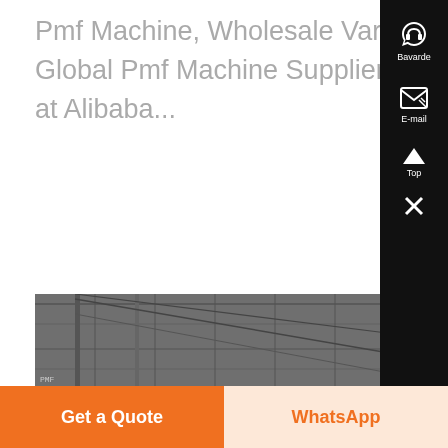Pmf Machine, Wholesale Various High Quality Pmf Machine Products from Global Pmf Machine Suppliers and Pmf Machine Factory,Importer,Exporter at Alibaba...
[Figure (photo): Black and white photo of industrial structure, partially visible at bottom of page]
[Figure (screenshot): Sidebar with dark background containing headphone/chat icon labeled 'Bavarde', email icon labeled 'E-mail', up arrow labeled 'Top', and close X button]
Get a Quote
WhatsApp